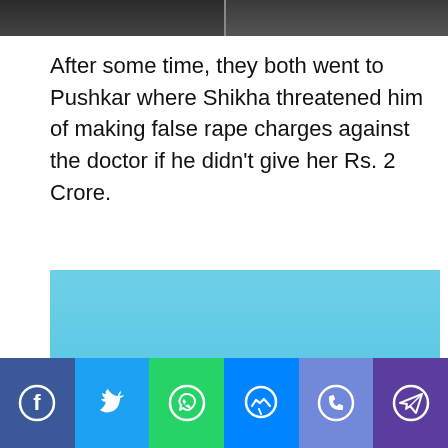[Figure (photo): Top cropped photo strip showing two people]
After some time, they both went to Pushkar where Shikha threatened him of making false rape charges against the doctor if he didn't give her Rs. 2 Crore.
[Figure (photo): Woman standing on rocks by the sea under a clear blue sky]
Social share buttons: Facebook, Twitter, WhatsApp, Messenger, Phone, Telegram